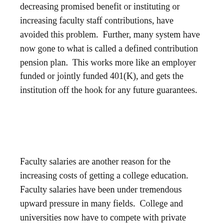decreasing promised benefit or instituting or increasing faculty staff contributions, have avoided this problem.  Further, many system have now gone to what is called a defined contribution pension plan.  This works more like an employer funded or jointly funded 401(K), and gets the institution off the hook for any future guarantees.
Faculty salaries are another reason for the increasing costs of getting a college education.  Faculty salaries have been under tremendous upward pressure in many fields.  College and universities now have to compete with private sector firms for top talent.  This has led many